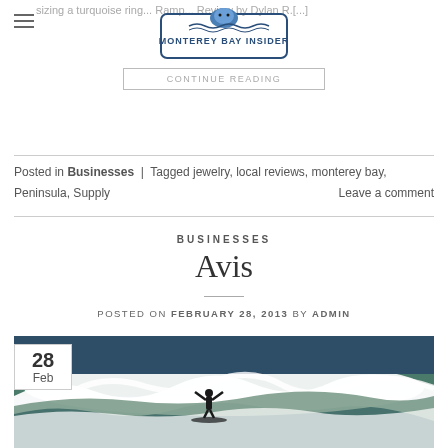sizing a turquoise ring... Ramp... Review by Dylan R.[...]
[Figure (logo): Monterey Bay Insider logo with sea otter graphic and waves]
CONTINUE READING
Posted in Businesses | Tagged jewelry, local reviews, monterey bay, Peninsula, Supply    Leave a comment
BUSINESSES
Avis
POSTED ON FEBRUARY 28, 2013 BY ADMIN
[Figure (photo): Surfer riding a large ocean wave at Monterey Bay, with white water spray and dark blue-green ocean in the background. Date badge showing 28 Feb in upper left corner.]